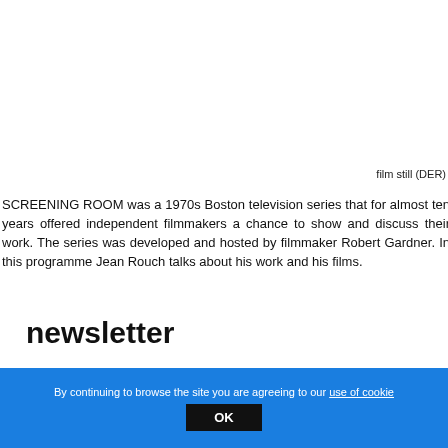film still (DER)
SCREENING ROOM was a 1970s Boston television series that for almost ten years offered independent filmmakers a chance to show and discuss their work. The series was developed and hosted by filmmaker Robert Gardner. In this programme Jean Rouch talks about his work and his films.
newsletter
By continuing to browse the site you are agreeing to our use of cookies